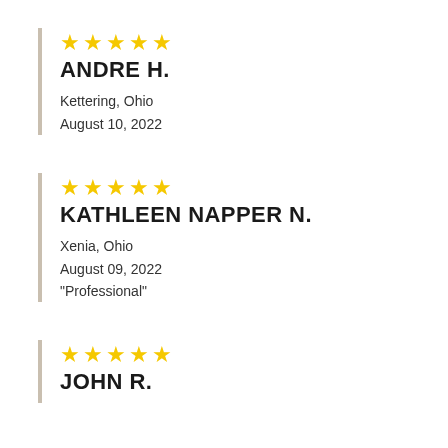★★★★★ ANDRE H. Kettering, Ohio August 10, 2022
★★★★★ KATHLEEN NAPPER N. Xenia, Ohio August 09, 2022 "Professional"
★★★★★ JOHN R.